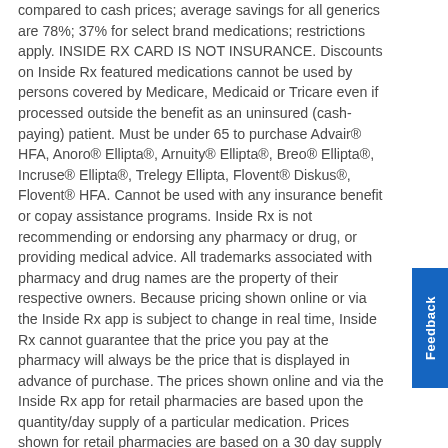compared to cash prices; average savings for all generics are 78%; 37% for select brand medications; restrictions apply. INSIDE RX CARD IS NOT INSURANCE. Discounts on Inside Rx featured medications cannot be used by persons covered by Medicare, Medicaid or Tricare even if processed outside the benefit as an uninsured (cash-paying) patient. Must be under 65 to purchase Advair® HFA, Anoro® Ellipta®, Arnuity® Ellipta®, Breo® Ellipta®, Incruse® Ellipta®, Trelegy Ellipta, Flovent® Diskus®, Flovent® HFA. Cannot be used with any insurance benefit or copay assistance programs. Inside Rx is not recommending or endorsing any pharmacy or drug, or providing medical advice. All trademarks associated with pharmacy and drug names are the property of their respective owners. Because pricing shown online or via the Inside Rx app is subject to change in real time, Inside Rx cannot guarantee that the price you pay at the pharmacy will always be the price that is displayed in advance of purchase. The prices shown online and via the Inside Rx app for retail pharmacies are based upon the quantity/day supply of a particular medication. Prices shown for retail pharmacies are based on a 30 day supply for the quantity provided, thus your actual pricing at the pharmacy may vary depending upon the days' supply provided for by your prescription on your specific prescription. Prices shown for The Express Scripts Pharmacy for Inside Rx are based on a 90 days' supply and may be subject to change if your prescription is for a days' supply that is less than 35 days. Estimated retail prices, where